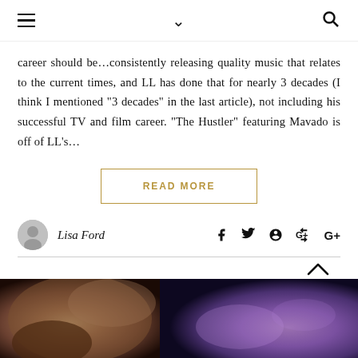≡  ∨  🔍
career should be…consistently releasing quality music that relates to the current times, and LL has done that for nearly 3 decades (I think I mentioned "3 decades" in the last article), not including his successful TV and film career. "The Hustler" featuring Mavado is off of LL's…
READ MORE
Lisa Ford
[Figure (photo): Close-up photo of a man's face and ear, cropped, dark background with purple/blue blurred lights]